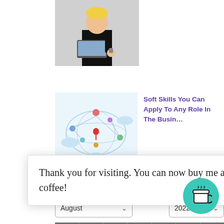[Figure (photo): Person in dark clothing holding a laptop, looking at their watch]
[Figure (illustration): Digital network/map illustration with connected icons and cloud shapes]
Soft Skills You Can Apply To Any Role In The Busin…
Archives
[Figure (screenshot): Calendar widget showing August 2022 with days Mon-Sun, dates 1-7 highlighted in purple for Mon-Fri, 6 and 7 on Sat/Sun in white, and rows below showing 13, 20]
Thank you for visiting. You can now buy me a coffee!